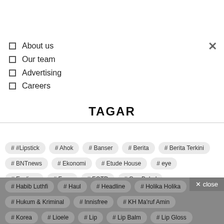About us
Our team
Advertising
Careers
TAGAR
# #Lipstick  # Ahok  # Banser  # Berita  # Berita Terkini  # BNTnews  # Ekonomi  # Etude House  # eye  # Eyeliner  # Face  # FOTD  # Gus Baha'  # Habib Luthfi  # Haul  # Headline  # Holika Holika  # Hukum & Kriminal  # Innisfree  # KH Ma'ruf Amin  # Korea  # Lioele  # Lip  # Lip Balm  # Lip Gloss  # Lip Tint  # Lokal  # Make Up  # Makeup Review